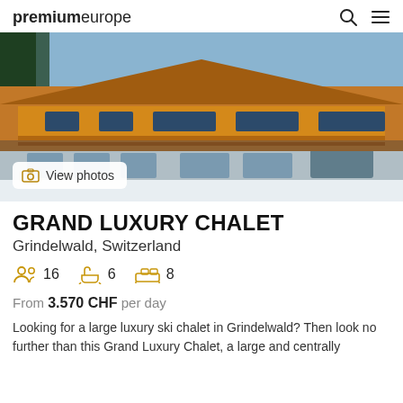premiumeurope
[Figure (photo): Exterior photo of a large Swiss chalet-style building with wooden facade, balconies, and snow on the ground. A 'View photos' button overlay is shown at the bottom left.]
GRAND LUXURY CHALET
Grindelwald, Switzerland
16  6  8
From 3.570 CHF per day
Looking for a large luxury ski chalet in Grindelwald? Then look no further than this Grand Luxury Chalet, a large and centrally